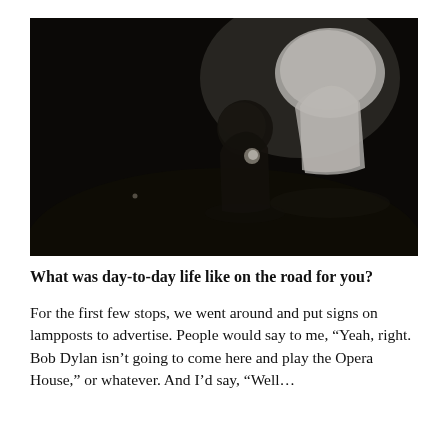[Figure (photo): Dark concert or performance photograph showing two figures on a dimly lit stage, one wearing a white shirt, the other darker clothing. The scene is very low-light with a dark background.]
What was day-to-day life like on the road for you?
For the first few stops, we went around and put signs on lampposts to advertise. People would say to me, “Yeah, right. Bob Dylan isn’t going to come here and play the Opera House,” or whatever. And I’d say, “Well…”